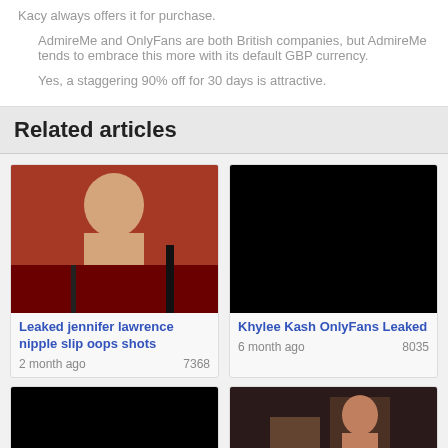Kacy always offers it for purchase.
AdmireMe and OnlyFans are both British companies, but AdmireMe tends to embrace this more with its default GBP currency.
Yes, a staggering 90% off for 30 days is attractive.
Related articles
[Figure (photo): Photo of a person]
Leaked jennifer lawrence nipple slip oops shots
2 month ago   7368
[Figure (photo): Black image placeholder]
Khylee Kash OnlyFans Leaked
6 month ago   8035
[Figure (photo): Black image placeholder bottom left]
[Figure (photo): Dark photo bottom right]